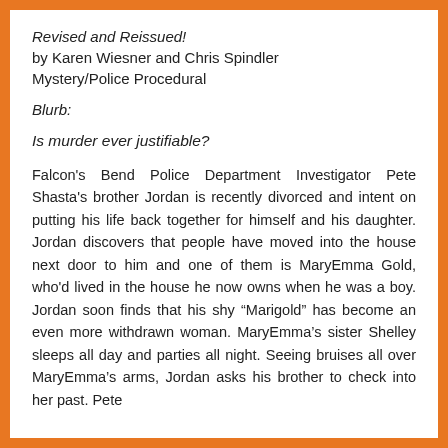Revised and Reissued!
by Karen Wiesner and Chris Spindler
Mystery/Police Procedural
Blurb:
Is murder ever justifiable?
Falcon's Bend Police Department Investigator Pete Shasta's brother Jordan is recently divorced and intent on putting his life back together for himself and his daughter. Jordan discovers that people have moved into the house next door to him and one of them is MaryEmma Gold, who'd lived in the house he now owns when he was a boy. Jordan soon finds that his shy “Marigold” has become an even more withdrawn woman. MaryEmma's sister Shelley sleeps all day and parties all night. Seeing bruises all over MaryEmma's arms, Jordan asks his brother to check into her past. Pete